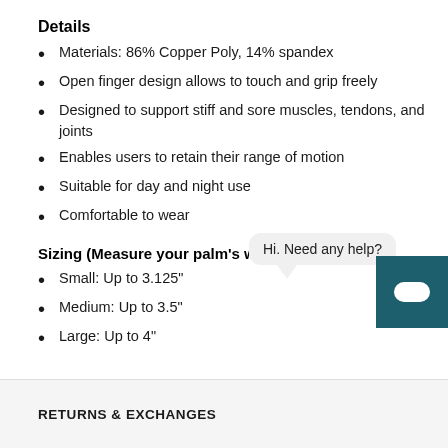Details
Materials: 86% Copper Poly, 14% spandex
Open finger design allows to touch and grip freely
Designed to support stiff and sore muscles, tendons, and joints
Enables users to retain their range of motion
Suitable for day and night use
Comfortable to wear
Sizing (Measure your palm's width at knuckles)
Small: Up to 3.125"
Medium: Up to 3.5"
Large: Up to 4"
Hi. Need any help?
RETURNS & EXCHANGES